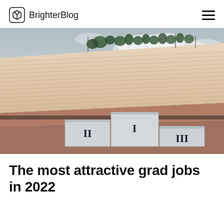BrighterBlog
[Figure (photo): A sports podium with positions I, II, and III marked in Roman numerals on white/grey concrete blocks, set on the track of the Panathenaic Stadium in Athens, with tiered marble seating and trees in the background under a cloudy sky.]
The most attractive grad jobs in 2022